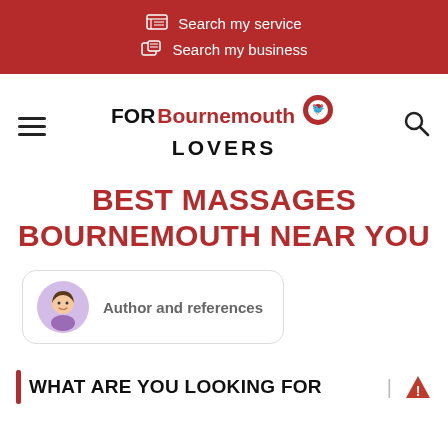Search my service | Search my business
[Figure (logo): FORBournemouth LOVERS logo with map pin icon]
BEST MASSAGES BOURNEMOUTH NEAR YOU
Author and references
WHAT ARE YOU LOOKING FOR